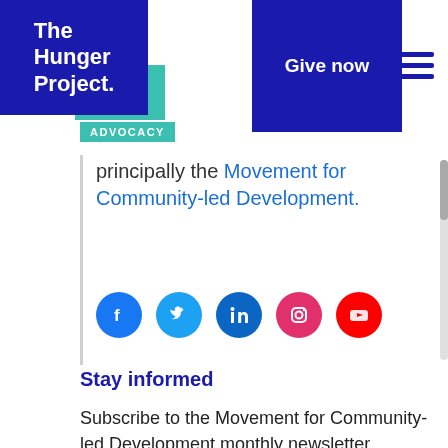[Figure (logo): The Hunger Project logo — dark blue square with white bold text 'The Hunger Project.' and teal accent block, with 'ADVOCACY' label in teal below]
[Figure (other): Dark blue 'Give now' button in header]
[Figure (other): Hamburger menu icon (three horizontal dark blue lines)]
principally the Movement for Community-led Development.
[Figure (other): Social media icons row: Facebook (blue), Twitter (light blue), LinkedIn (dark blue), Instagram (pink/red), YouTube (red)]
Stay informed
Subscribe to the Movement for Community-led Development monthly newsletter #ShiftThePower to receive concise updates.